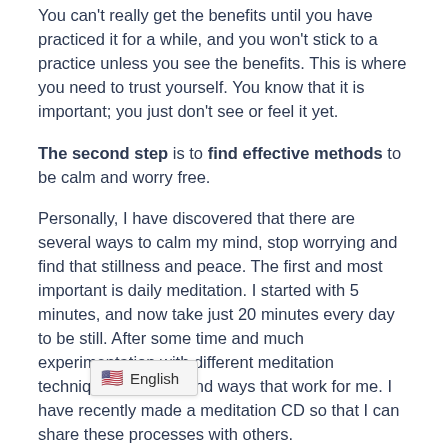You can't really get the benefits until you have practiced it for a while, and you won't stick to a practice unless you see the benefits. This is where you need to trust yourself. You know that it is important; you just don't see or feel it yet.
The second step is to find effective methods to be calm and worry free.
Personally, I have discovered that there are several ways to calm my mind, stop worrying and find that stillness and peace. The first and most important is daily meditation. I started with 5 minutes, and now take just 20 minutes every day to be still. After some time and much experimentation with different meditation techniques I have found ways that work for me. I have recently made a meditation CD so that I can share these processes with others.
The second most important method for me is to take time daily to walk in nature. It is important that I walk, not run. Exercise for the purpose of fitness is quite a different intention than walking for peace and spiritual connection.
I als[o ...] sic in the morning and at night, rather than